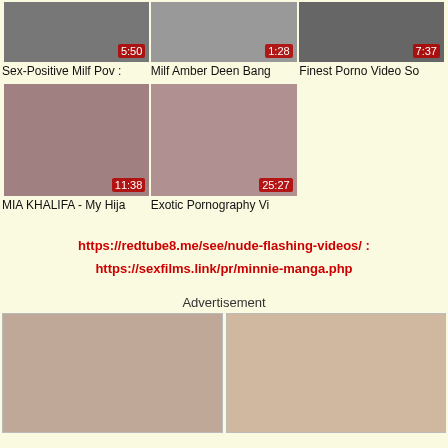[Figure (screenshot): Three video thumbnails in a row with durations 5:50, 1:28, 7:37]
Sex-Positive Milf Pov :   Milf Amber Deen Bang   Finest Porno Video So
[Figure (screenshot): Two video thumbnails in a row with durations 11:38 and 25:27]
MIA KHALIFA - My Hija   Exotic Pornography Vi
https://redtube8.me/see/nude-flashing-videos/ : https://sexfilms.link/pr/minnie-manga.php
Advertisement
[Figure (photo): Two advertisement image panels side by side]